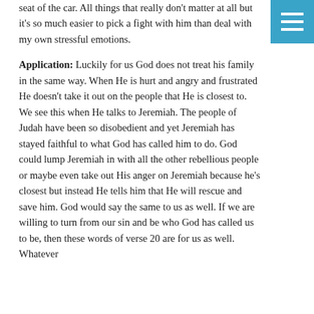seat of the car.  All things that really don't matter at all but it's so much easier to pick a fight with him than deal with my own stressful emotions.
Application: Luckily for us God does not treat his family in the same way. When He is hurt and angry and frustrated He doesn't take it out on the people that He is closest to.  We see this when He talks to Jeremiah.  The people of Judah have been so disobedient and yet Jeremiah has stayed faithful to what God has called him to do.  God could lump Jeremiah in with all the other rebellious people or maybe even take out His anger on Jeremiah because he's closest but instead He tells him that He will rescue and save him.  God would say the same to us as well.  If we are willing to turn from our sin and be who God has called us to be, then these words of verse 20 are for us as well.  Whatever